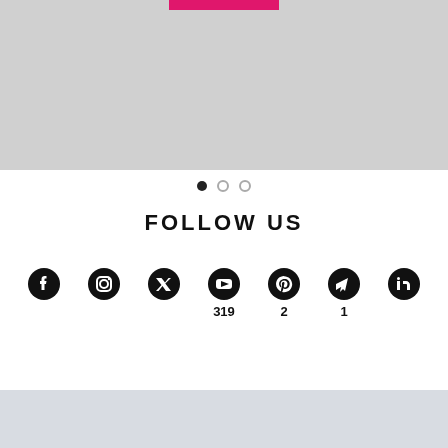[Figure (screenshot): Gray placeholder image area with a pink/magenta bar at top center]
[Figure (infographic): Carousel navigation dots: one filled black, two outlined gray]
FOLLOW US
[Figure (infographic): Social media icons row: Facebook, Instagram, Twitter, YouTube (319), Pinterest (2), Telegram (1), LinkedIn]
[Figure (screenshot): Light gray/blue-gray placeholder area at bottom of page]